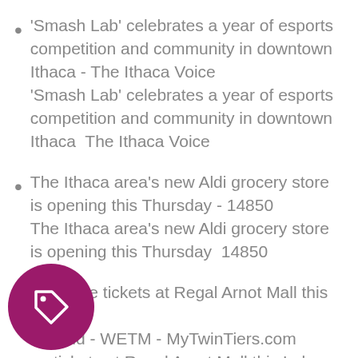'Smash Lab' celebrates a year of esports competition and community in downtown Ithaca - The Ithaca Voice
'Smash Lab' celebrates a year of esports competition and community in downtown Ithaca  The Ithaca Voice
The Ithaca area's new Aldi grocery store is opening this Thursday - 14850
The Ithaca area's new Aldi grocery store is opening this Thursday  14850
$3 movie tickets at Regal Arnot Mall this Labor Weekend - WETM - MyTwinTiers.com
$3 movie tickets at Regal Arnot Mall this Labor Day weekend  WETM - MyTwinTiers.com
[Figure (illustration): A circular dark magenta/purple button with a price tag icon in white]